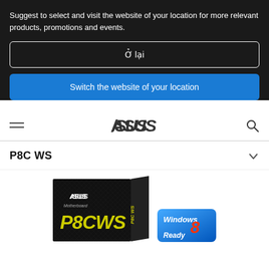Suggest to select and visit the website of your location for more relevant products, promotions and events.
Ở lại
Switch the website of your location
[Figure (logo): ASUS brand logo in italic bold font]
P8C WS
[Figure (photo): ASUS P8C WS motherboard product box, black packaging with yellow text reading P8CWS, alongside a Windows 8 Ready badge]